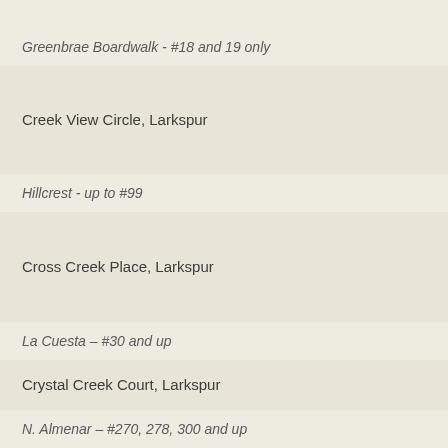Greenbrae Boardwalk - #18 and 19 only
Creek View Circle, Larkspur
Hillcrest  - up to #99
Cross Creek Place, Larkspur
La Cuesta – #30 and up
Crystal Creek Court, Larkspur
N. Almenar – #270, 278, 300 and up